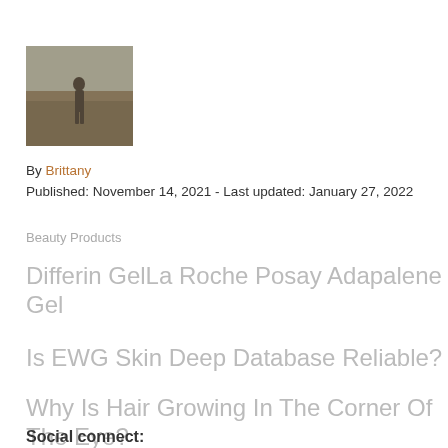[Figure (photo): Small author avatar photo showing a person in a field, grayscale/muted tones]
By Brittany
Published: November 14, 2021 - Last updated: January 27, 2022
Beauty Products
Differin GelLa Roche Posay Adapalene Gel
Is EWG Skin Deep Database Reliable?
Why Is Hair Growing In The Corner Of The Eye?
Social connect: